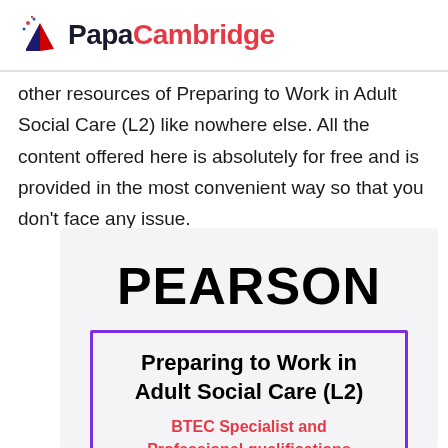PapaCambridge
other resources of Preparing to Work in Adult Social Care (L2) like nowhere else. All the content offered here is absolutely for free and is provided in the most convenient way so that you don't face any issue.
[Figure (logo): Pearson BTEC book cover showing 'PEARSON' in large bold text above a purple-bordered box containing 'Preparing to Work in Adult Social Care (L2)' and 'BTEC Specialist and Professional qualifications' in red text, on a light grey background.]